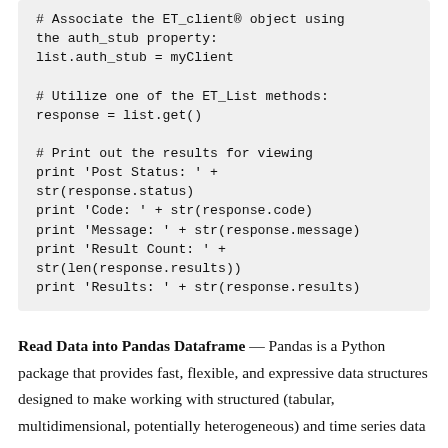# Associate the ET_client® object using the auth_stub property:
list.auth_stub = myClient

# Utilize one of the ET_List methods:
response = list.get()

# Print out the results for viewing
print 'Post Status: ' + str(response.status)
print 'Code: ' + str(response.code)
print 'Message: ' + str(response.message)
print 'Result Count: ' + str(len(response.results))
print 'Results: ' + str(response.results)
Read Data into Pandas Dataframe — Pandas is a Python package that provides fast, flexible, and expressive data structures designed to make working with structured (tabular, multidimensional, potentially heterogeneous) and time series data both easy and